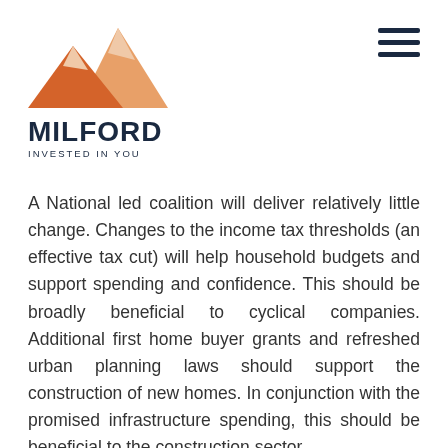[Figure (logo): Milford logo: orange mountain graphic above the text MILFORD in dark navy bold, with tagline INVESTED IN YOU below]
[Figure (other): Hamburger menu icon (three horizontal dark navy lines) in top right corner]
A National led coalition will deliver relatively little change. Changes to the income tax thresholds (an effective tax cut) will help household budgets and support spending and confidence. This should be broadly beneficial to cyclical companies. Additional first home buyer grants and refreshed urban planning laws should support the construction of new homes. In conjunction with the promised infrastructure spending, this should be beneficial to the construction sector.